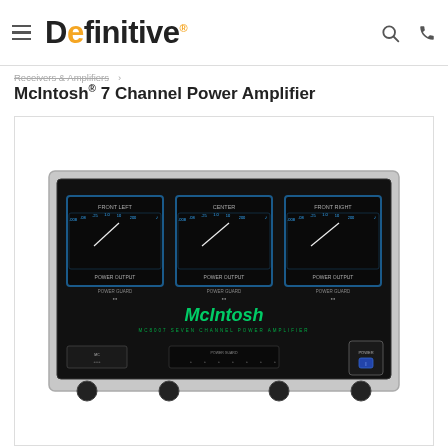Definitive (logo) — search and phone icons
Receivers & Amplifiers >
McIntosh® 7 Channel Power Amplifier
[Figure (photo): Front view of McIntosh 7 Channel Power Amplifier — a large black rack-mounted amplifier with three power output meters (FRONT LEFT, CENTER, FRONT RIGHT), green McIntosh logo text, model text MC8007 SEVEN CHANNEL POWER AMPLIFIER, and four rubber feet at the bottom.]